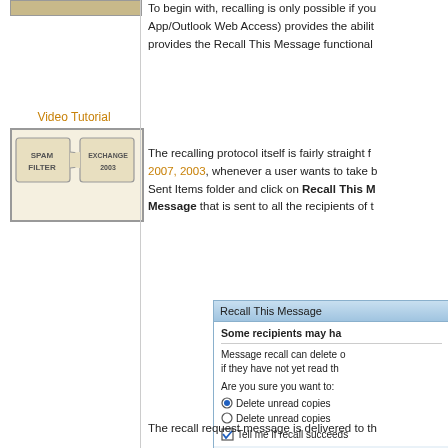[Figure (screenshot): Top strip image in the sidebar - a tan/beige colored graphic bar]
[Figure (illustration): Puzzle piece graphic showing Spam Filter and Exchange 2003 connection diagram]
To begin with, recalling is only possible if you... App/Outlook Web Access) provides the abilit... provides the Recall This Message functional...
The recalling protocol itself is fairly straight f... 2007, 2003, whenever a user wants to take b... Sent Items folder and click on Recall This M... Message that is sent to all the recipients of t...
[Figure (screenshot): Recall This Message dialog box showing options: Some recipients may ha..., Message recall can delete o... if they have not yet read th..., Are you sure you want to:, Delete unread copies (radio selected), Delete unread copies (radio), Tell me if recall succeeds checkbox checked]
The recall request message is delivered to th...